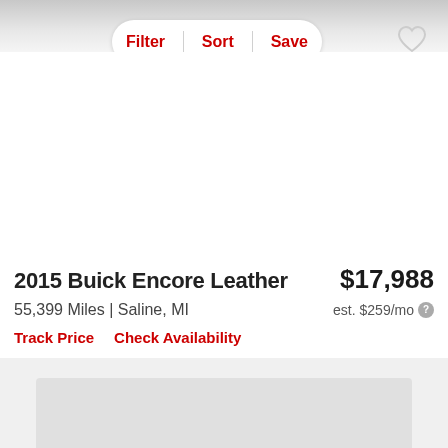Filter | Sort | Save
2015 Buick Encore Leather
$17,988
55,399 Miles | Saline, MI
est. $259/mo
Track Price
Check Availability